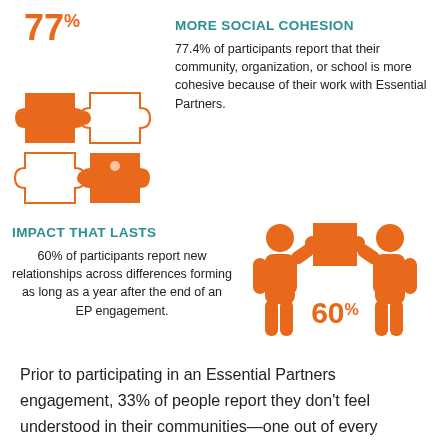[Figure (infographic): Orange puzzle pieces icon with 77% label — More Social Cohesion]
MORE SOCIAL COHESION
77.4% of participants report that their community, organization, or school is more cohesive because of their work with Essential Partners.
IMPACT THAT LASTS
60% of participants report new relationships across differences forming as long as a year after the end of an EP engagement.
[Figure (infographic): Orange figures holding up puzzle piece icon with 60% label — Impact That Lasts]
Prior to participating in an Essential Partners engagement, 33% of people report they don't feel understood in their communities—one out of every